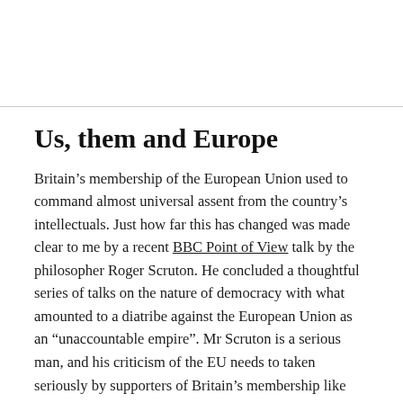Us, them and Europe
Britain’s membership of the European Union used to command almost universal assent from the country’s intellectuals. Just how far this has changed was made clear to me by a recent BBC Point of View talk by the philosopher Roger Scruton. He concluded a thoughtful series of talks on the nature of democracy with what amounted to a diatribe against the European Union as an “unaccountable empire”. Mr Scruton is a serious man, and his criticism of the EU needs to taken seriously by supporters of Britain’s membership like me. .